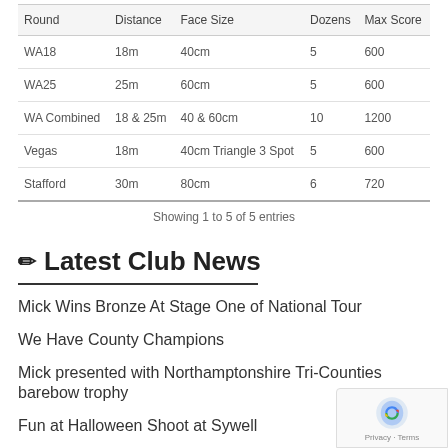| Round | Distance | Face Size | Dozens | Max Score |
| --- | --- | --- | --- | --- |
| WA18 | 18m | 40cm | 5 | 600 |
| WA25 | 25m | 60cm | 5 | 600 |
| WA Combined | 18 & 25m | 40 & 60cm | 10 | 1200 |
| Vegas | 18m | 40cm Triangle 3 Spot | 5 | 600 |
| Stafford | 30m | 80cm | 6 | 720 |
Showing 1 to 5 of 5 entries
✏ Latest Club News
Mick Wins Bronze At Stage One of National Tour
We Have County Champions
Mick presented with Northamptonshire Tri-Counties barebow trophy
Fun at Halloween Shoot at Sywell